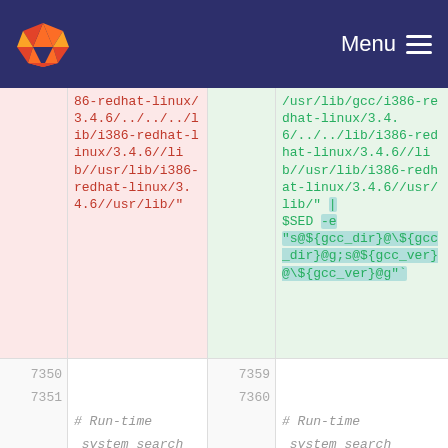GitLab — Menu
86-redhat-linux/3.4.6/../../lib/i386-redhat-linux/3.4.6//lib//usr/lib/i386-redhat-linux/3.4.6//usr/lib/" (deleted/left side)
/usr/lib/gcc/i386-redhat-linux/3.4.6/../../lib/i386-redhat-linux/3.4.6//lib//usr/lib/i386-redhat-linux/3.4.6//usr/lib/" | $SED -e "s@${gcc_dir}@\${gcc_dir}@g;s@${gcc_ver}@\${gcc_ver}@g"` (added/right side)
7350  7359
7351  # Run-time system search    7360  # Run-time system search